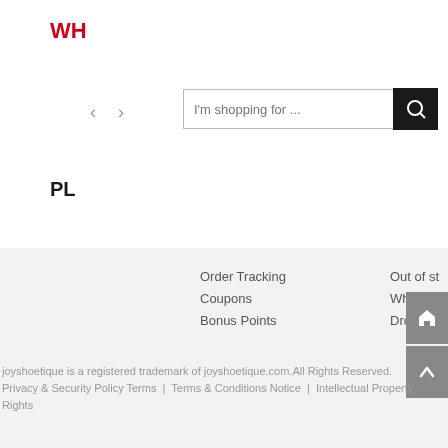WH
[Figure (screenshot): Search bar with placeholder text 'I'm shopping for ...' and navigation arrows]
PL
Order Tracking
Coupons
Bonus Points
Out of st
Wholesa
Drop Shi
joyshoetique is a registered trademark of joyshoetique.com.All Rights Reserved.
Privacy & Security Policy Terms  |  Terms & Conditions Notice  |  Intellectual Property Rights